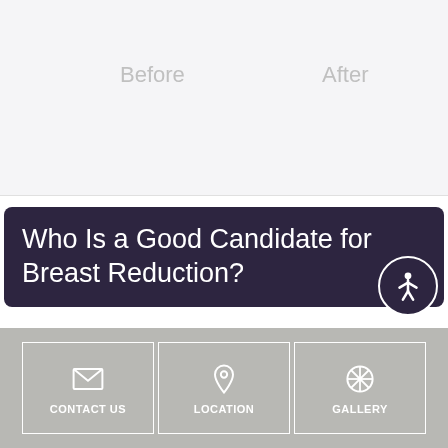[Figure (photo): Before and After photo comparison area with light gray background, 'Before' label on left and 'After' label on right]
Who Is a Good Candidate for Breast Reduction?
Any woman who wishes to have smaller breasts can be a good candidate for breast reduction. Some of the most common reasons women think about reducing breast size include:
CONTACT US | LOCATION | GALLERY